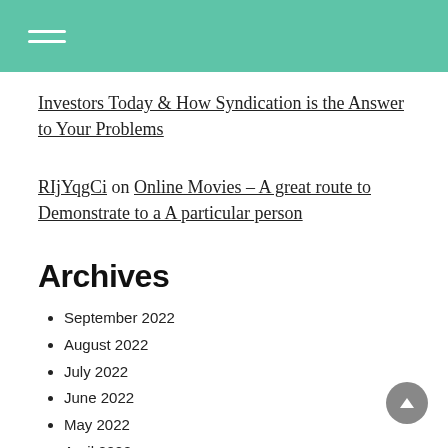Investors Today & How Syndication is the Answer to Your Problems
RIjYqgCi on Online Movies – A great route to Demonstrate to a A particular person
Archives
September 2022
August 2022
July 2022
June 2022
May 2022
April 2022